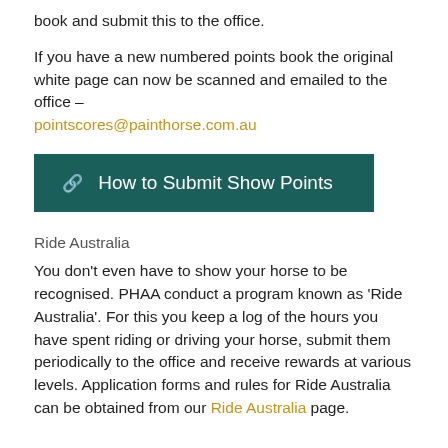book and submit this to the office.
If you have a new numbered points book the original white page can now be scanned and emailed to the office – pointscores@painthorse.com.au
[Figure (other): Dark teal button with link icon and text 'How to Submit Show Points']
Ride Australia
You don't even have to show your horse to be recognised. PHAA conduct a program known as 'Ride Australia'. For this you keep a log of the hours you have spent riding or driving your horse, submit them periodically to the office and receive rewards at various levels. Application forms and rules for Ride Australia can be obtained from our Ride Australia page.